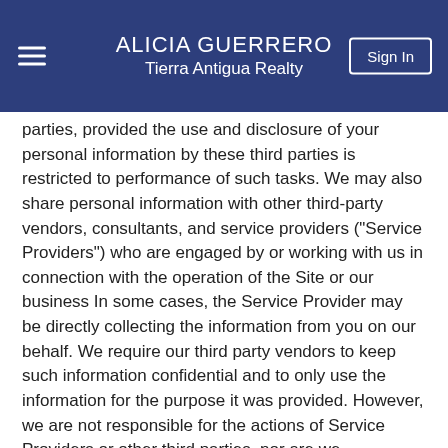ALICIA GUERRERO
Tierra Antigua Realty
parties, provided the use and disclosure of your personal information by these third parties is restricted to performance of such tasks. We may also share personal information with other third-party vendors, consultants, and service providers ("Service Providers") who are engaged by or working with us in connection with the operation of the Site or our business In some cases, the Service Provider may be directly collecting the information from you on our behalf. We require our third party vendors to keep such information confidential and to only use the information for the purpose it was provided. However, we are not responsible for the actions of Service Providers or other third parties, nor are we responsible for any additional information you provide directly to these Service Providers or other third parties.
Protection of Company and Others: We may disclose personal information when we believe it